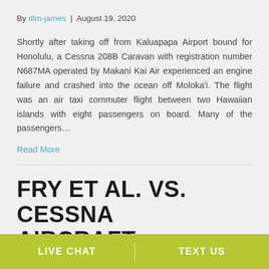By dlm-james | August 19, 2020
Shortly after taking off from Kaluapapa Airport bound for Honolulu, a Cessna 208B Caravan with registration number N687MA operated by Makani Kai Air experienced an engine failure and crashed into the ocean off Moloka'i. The flight was an air taxi commuter flight between two Hawaiian islands with eight passengers on board. Many of the passengers…
Read More
FRY ET AL. VS. CESSNA AIRCRAFT COMPANY
LIVE CHAT   TEXT US